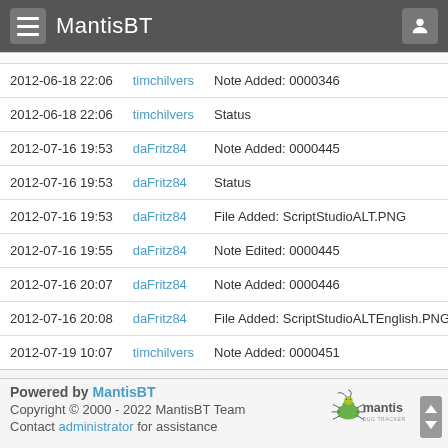MantisBT
| Date | User | Action |  |
| --- | --- | --- | --- |
| 2012-06-18 22:06 | timchilvers | Note Added: 0000346 |  |
| 2012-06-18 22:06 | timchilvers | Status | assigned |
| 2012-07-16 19:53 | daFritz84 | Note Added: 0000445 |  |
| 2012-07-16 19:53 | daFritz84 | Status | feedbac |
| 2012-07-16 19:53 | daFritz84 | File Added: ScriptStudioALT.PNG |  |
| 2012-07-16 19:55 | daFritz84 | Note Edited: 0000445 | View Re |
| 2012-07-16 20:07 | daFritz84 | Note Added: 0000446 |  |
| 2012-07-16 20:08 | daFritz84 | File Added: ScriptStudioALTEnglish.PNG |  |
| 2012-07-19 10:07 | timchilvers | Note Added: 0000451 |  |
Powered by MantisBT
Copyright © 2000 - 2022 MantisBT Team
Contact administrator for assistance